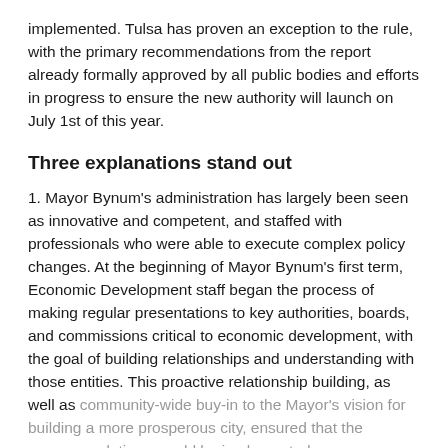implemented. Tulsa has proven an exception to the rule, with the primary recommendations from the report already formally approved by all public bodies and efforts in progress to ensure the new authority will launch on July 1st of this year.
Three explanations stand out
1. Mayor Bynum's administration has largely been seen as innovative and competent, and staffed with professionals who were able to execute complex policy changes. At the beginning of Mayor Bynum's first term, Economic Development staff began the process of making regular presentations to key authorities, boards, and commissions critical to economic development, with the goal of building relationships and understanding with those entities. This proactive relationship building, as well as community-wide buy-in to the Mayor's vision for building a more prosperous city, ensured that the recommendations would be implemented.